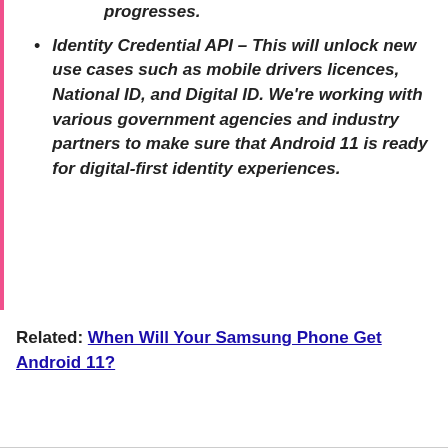progresses.
Identity Credential API – This will unlock new use cases such as mobile drivers licences, National ID, and Digital ID. We're working with various government agencies and industry partners to make sure that Android 11 is ready for digital-first identity experiences.
Related: When Will Your Samsung Phone Get Android 11?